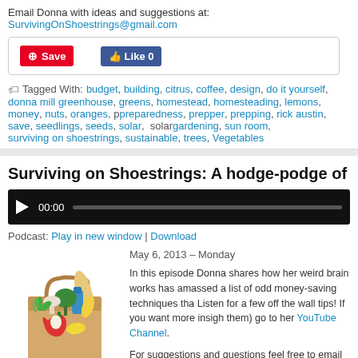Email Donna with ideas and suggestions at: SurvivingOnShoestrings@gmail.com
[Figure (other): Social sharing buttons: Pinterest Save button and Facebook Like 0 button]
Tagged With: budget, building, citrus, coffee, design, do it yourself, donna mill, greenhouse, greens, homestead, homesteading, lemons, money, nuts, oranges, preparedness, prepper, prepping, rick austin, save, seedlings, seeds, solar, solar gardening, sun room, surviving on shoestrings, sustainable, trees, Vegetables
Surviving on Shoestrings: A hodge-podge of money saving h
[Figure (other): Audio player widget with play button, 00:00 timestamp and progress bar]
Podcast: Play in new window | Download
May 6, 2013 – Monday
[Figure (photo): Grocery bag filled with vegetables and food items including broccoli, red pepper, mushrooms, banana, bread, and milk bottle]
In this episode Donna shares how her weird brain works has amassed a list of odd money-saving techniques tha Listen for a few off the wall tips! If you want more insigh them) go to her YouTube Channel.
For suggestions and questions feel free to email Donna SurvivingOnShoestrings@gmail.com